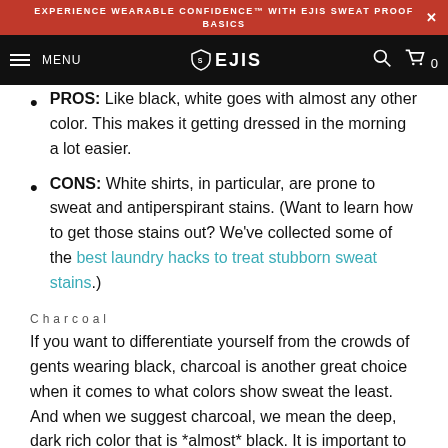EXPERIENCE WEARABLE CONFIDENCE™ WITH EJIS SWEAT PROOF BASICS
MENU  EJIS  0
PROS: Like black, white goes with almost any other color. This makes it getting dressed in the morning a lot easier.
CONS: White shirts, in particular, are prone to sweat and antiperspirant stains. (Want to learn how to get those stains out? We've collected some of the best laundry hacks to treat stubborn sweat stains.)
Charcoal
If you want to differentiate yourself from the crowds of gents wearing black, charcoal is another great choice when it comes to what colors show sweat the least. And when we suggest charcoal, we mean the deep, dark rich color that is *almost* black. It is important to remember that your goal is to select colors that won't show the